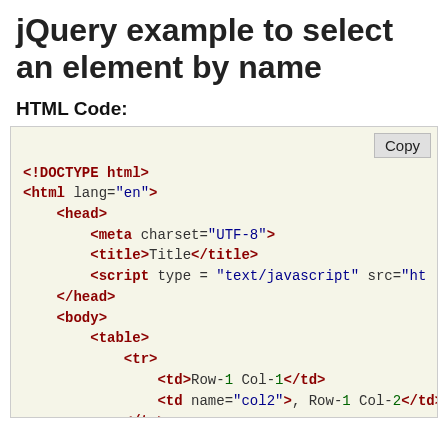jQuery example to select an element by name
HTML Code:
[Figure (screenshot): Code block showing HTML source code with syntax highlighting. Contains DOCTYPE declaration, html, head, meta, title, script, body, table, tr, td tags with jQuery example.]